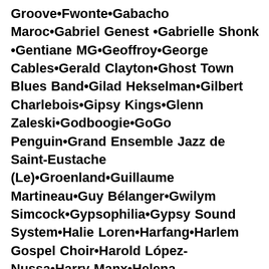Groove•Fwonte•Gabacho Maroc•Gabriel Genest •Gabrielle Shonk •Gentiane MG•Geoffroy•George Cables•Gerald Clayton•Ghost Town Blues Band•Gilad Hekselman•Gilbert Charlebois•Gipsy Kings•Glenn Zaleski•Godboogie•GoGo Penguin•Grand Ensemble Jazz de Saint-Eustache (Le)•Groenland•Guillaume Martineau•Guy Bélanger•Gwilym Simcock•Gypsophilia•Gypsy Sound System•Halie Loren•Harfang•Harlem Gospel Choir•Harold López-Nussa•Harry Manx•Helena Deland•Her•Hichem Khalfa•Hiromi•Huu Bac•ÌFÉ•Imany•Ingrid Jensen•Interzone•Itamar Borochov•Jack Broadbent•Jack DeJohnette•Jacob Collier •Jacob Deraps•Jacques Kuba Séguin•James Gelfand•Jane Bunnett•Jason Davis•Jason Palmer •Jazz Band 1•Jazz Band Saint-Luc•Jazzamboka•Jean Fernand